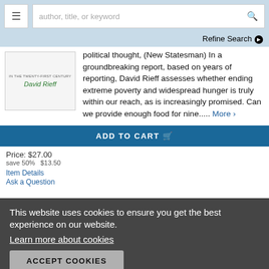author, title, or keyword
Refine Search
political thought, (New Statesman) In a groundbreaking report, based on years of reporting, David Rieff assesses whether ending extreme poverty and widespread hunger is truly within our reach, as is increasingly promised. Can we provide enough food for nine..... More ›
ADD TO CART
Price: $27.00
save 50%   $13.50
Item Details
Ask a Question
This website uses cookies to ensure you get the best experience on our website.
Learn more about cookies
ACCEPT COOKIES